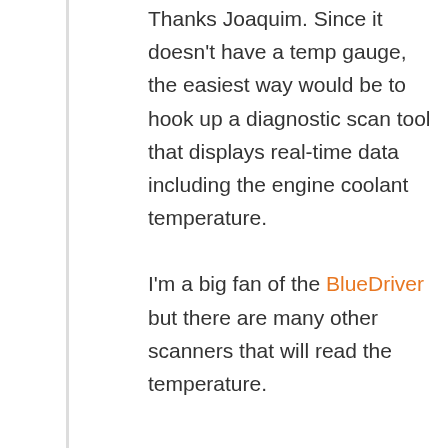Thanks Joaquim. Since it doesn't have a temp gauge, the easiest way would be to hook up a diagnostic scan tool that displays real-time data including the engine coolant temperature. I'm a big fan of the BlueDriver but there are many other scanners that will read the temperature.
Reply
Want to ask a Mechanic online now? I can connect you ...
August 31, 2019 at 5:11 am
[Figure (other): Advertisement banner: GO BEYOND SAYING THANK YOU — OPERATION GRATITUDE JOIN US]